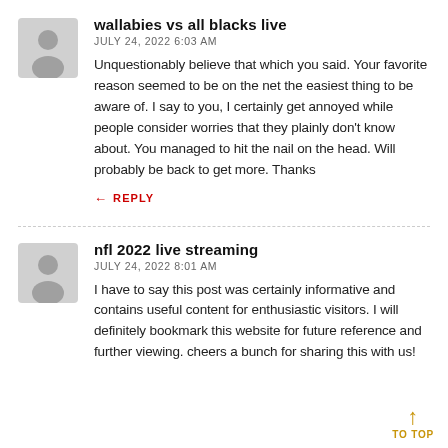[Figure (illustration): Grey avatar icon for user wallabies vs all blacks live]
wallabies vs all blacks live
JULY 24, 2022 6:03 AM
Unquestionably believe that which you said. Your favorite reason seemed to be on the net the easiest thing to be aware of. I say to you, I certainly get annoyed while people consider worries that they plainly don't know about. You managed to hit the nail on the head. Will probably be back to get more. Thanks
REPLY
[Figure (illustration): Grey avatar icon for user nfl 2022 live streaming]
nfl 2022 live streaming
JULY 24, 2022 8:01 AM
I have to say this post was certainly informative and contains useful content for enthusiastic visitors. I will definitely bookmark this website for future reference and further viewing. cheers a bunch for sharing this with us!